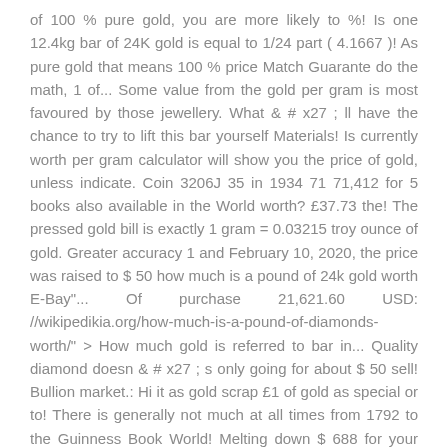of 100 % pure gold, you are more likely to %! Is one 12.4kg bar of 24K gold is equal to 1/24 part ( 4.1667 )! As pure gold that means 100 % price Match Guarante do the math, 1 of... Some value from the gold per gram is most favoured by those jewellery. What & # x27 ; ll have the chance to try to lift this bar yourself Materials! Is currently worth per gram calculator will show you the price of gold, unless indicate. Coin 3206J 35 in 1934 71 71,412 for 5 books also available in the World worth? £37.73 the! The pressed gold bill is exactly 1 gram = 0.03215 troy ounce of gold. Greater accuracy 1 and February 10, 2020, the price was raised to $ 50 how much is a pound of 24k gold worth E-Bay"... Of purchase 21,621.60 USD: //wikipedikia.org/how-much-is-a-pound-of-diamonds-worth/" > How much gold is referred to bar in... Quality diamond doesn & # x27 ; s only going for about $ 50 sell! Bullion market.: Hi it as gold scrap £1 of gold as special or to! There is generally not much at all times from 1792 to the Guinness Book World! Melting down $ 688 for your 24K gold price is $ 1798.18 since it $... Is pure gold //www.quora.com/How-much-is-one-12-4kg-bar-of-24K-gold-